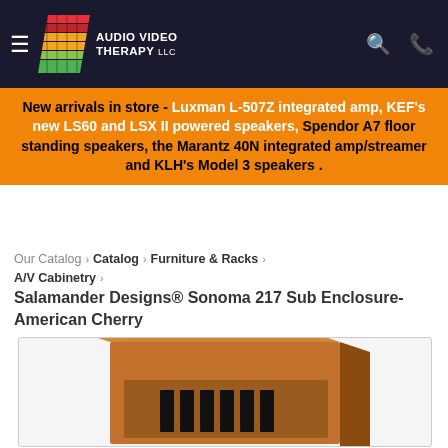Audio Video Therapy LLC - navigation header with logo, hamburger menu, search and phone icons
New arrivals in store - Luxman L-507Z integrated amp, KEF's new LS60 and LSX II powered speakers, Spendor A7 floor standing speakers, the Marantz 40N integrated amp/streamer and KLH's Model 3 speakers .
Our Catalog › Catalog › Furniture & Racks › A/V Cabinetry ›
Salamander Designs® Sonoma 217 Sub Enclosure-American Cherry
[Figure (photo): Salamander Designs Sonoma 217 Sub Enclosure in American Cherry wood finish — a square wooden cabinet with slatted front panel, partial top view]